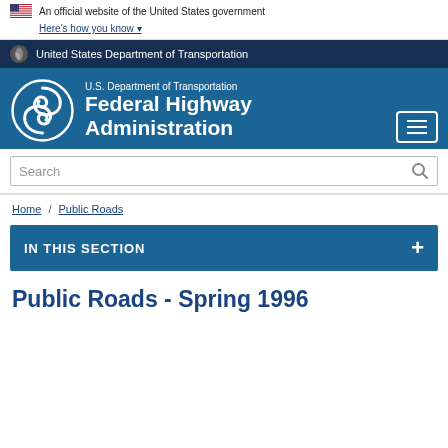An official website of the United States government
Here's how you know
United States Department of Transportation
[Figure (logo): U.S. Department of Transportation Federal Highway Administration logo with white circular FHWA swirl emblem on blue background]
Search
Home / Public Roads
IN THIS SECTION
Public Roads - Spring 1996